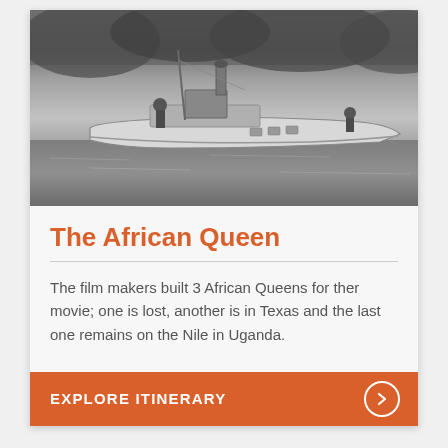[Figure (photo): Black and white photograph of The African Queen steamboat on a river, with a person standing at the front and another at the rear, surrounded by reeds and calm water.]
The African Queen
The film makers built 3 African Queens for ther movie; one is lost, another is in Texas and the last one remains on the Nile in Uganda.
EXPLORE ITINERARY